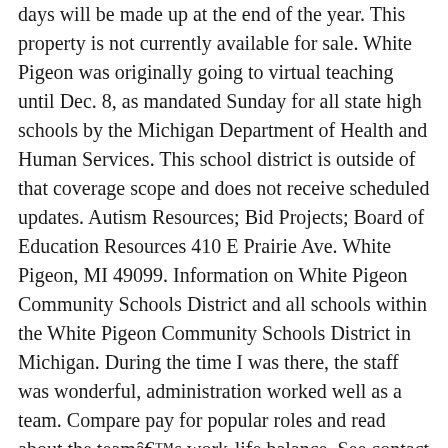days will be made up at the end of the year. This property is not currently available for sale. White Pigeon was originally going to virtual teaching until Dec. 8, as mandated Sunday for all state high schools by the Michigan Department of Health and Human Services. This school district is outside of that coverage scope and does not receive scheduled updates. Autism Resources; Bid Projects; Board of Education Resources 410 E Prairie Ave. White Pigeon, MI 49099. Information on White Pigeon Community Schools District and all schools within the White Pigeon Community Schools District in Michigan. During the time I was there, the staff was wonderful, administration worked well as a team. Compare pay for popular roles and read about the teamâs work-life balance. See contact info and more. The hours those days are 9am-3pm. The principal of White Pigeon Jr/Sr High School is Jon Keyer. ... Teachers & staff. Constantine High School is one of the nearest high schools. For important COVID-19 information, click on the hospital logo. Central Elementary School. White Pigeon Community Schools, White Pigeon, MI. Welcome to the White Pigeon Community Schools, where the possibilities are endless. Ballotpedia provides comprehensive coverage of the 100